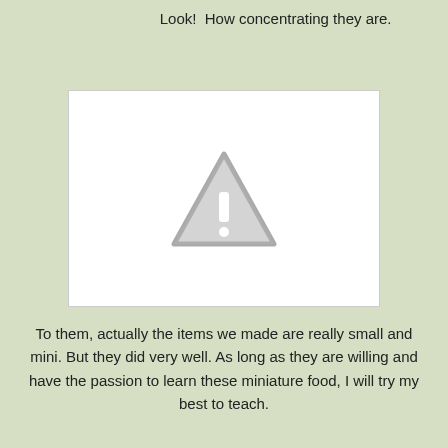Look!  How concentrating they are.
[Figure (photo): A white rectangle placeholder image with a gray warning/image-unavailable triangle icon with an exclamation mark in the center.]
To them, actually the items we made are really small and mini. But they did very well. As long as they are willing and have the passion to learn these miniature food, I will try my best to teach.